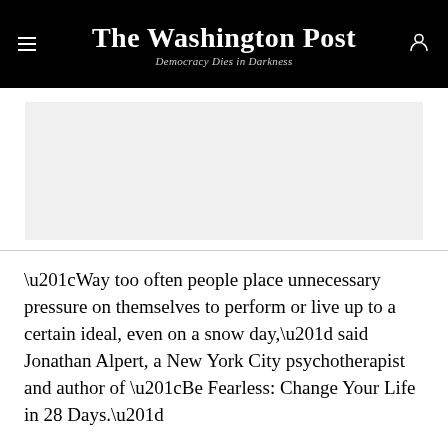The Washington Post — Democracy Dies in Darkness
[Figure (other): Advertisement placeholder block (gray rectangle)]
“Way too often people place unnecessary pressure on themselves to perform or live up to a certain ideal, even on a snow day,” said Jonathan Alpert, a New York City psychotherapist and author of “Be Fearless: Change Your Life in 28 Days.”
“Rather than seeing it as knocking you off your game or slowing down progress at work, see it as an